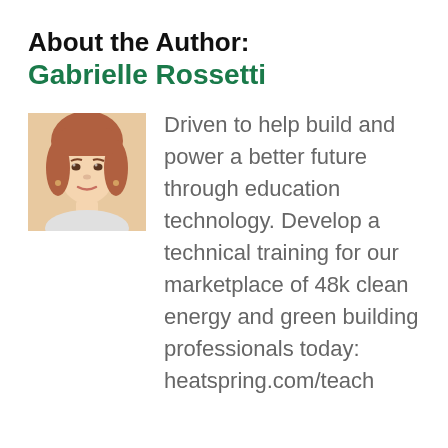About the Author:
Gabrielle Rossetti
[Figure (photo): Headshot photo of Gabrielle Rossetti, a woman with reddish-brown hair against a white background]
Driven to help build and power a better future through education technology. Develop a technical training for our marketplace of 48k clean energy and green building professionals today: heatspring.com/teach